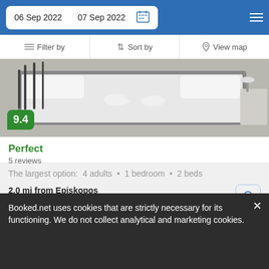06 Sep 2022  07 Sep 2022
Filter by  |  Sort by  |  View map
[Figure (photo): Hotel room with bed with white linens and rolled towels]
9.4
Perfect
5 reviews
The largest option:  4 adults  •  1 bedroom  •  2 beds
2.0 mi from Episkopos
2.0 mi from City Center
This traditional apartment offers accommodation with a sunny balcony, a mini-kitchen and a family bathroom.
from  us$ 59/night
SELECT
Booked.net uses cookies that are strictly necessary for its functioning. We do not collect analytical and marketing cookies.